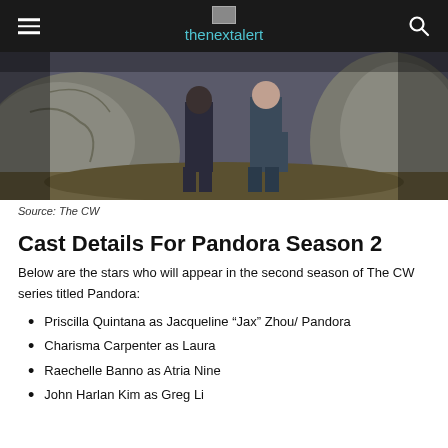thenextalert
[Figure (photo): Two people standing among large rocks/boulders in an outdoor scene]
Source: The CW
Cast Details For Pandora Season 2
Below are the stars who will appear in the second season of The CW series titled Pandora:
Priscilla Quintana as Jacqueline “Jax” Zhou/ Pandora
Charisma Carpenter as Laura
Raechelle Banno as Atria Nine
John Harlan Kim as Greg Li